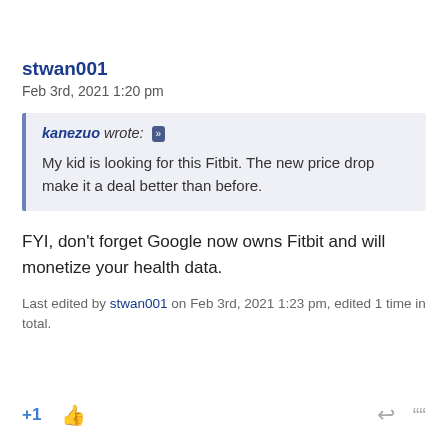stwan001
Feb 3rd, 2021 1:20 pm
kanezuo wrote: My kid is looking for this Fitbit. The new price drop make it a deal better than before.
FYI, don't forget Google now owns Fitbit and will monetize your health data.
Last edited by stwan001 on Feb 3rd, 2021 1:23 pm, edited 1 time in total.